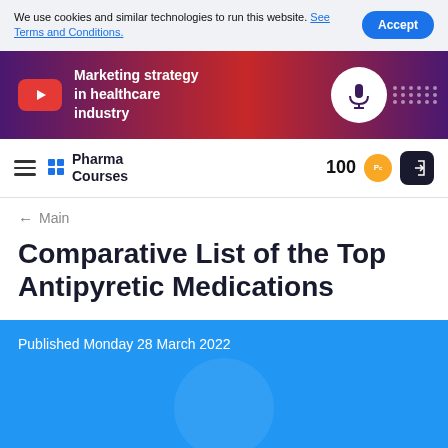We use cookies and similar technologies to run this website. See Terms and Conditions.
[Figure (infographic): Marketing strategy in healthcare industry – promotional banner with YouTube icon and podcast microphone graphic]
Pharma Courses
← Main
Comparative List of the Top Antipyretic Medications
Published Monday 28 March 2022